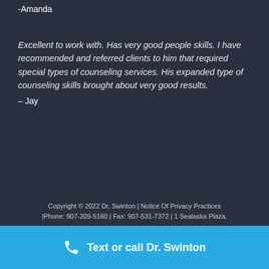-Amanda
Excellent to work with. Has very good people skills. I have recommended and referred clients to him that required special types of counseling services. His expanded type of counseling skills brought about very good results.
– Jay
Copyright © 2022 Dr. Swinton | Notice Of Privacy Practices |Phone: 907-209-5160 | Fax: 907-531-7372 | 1 Sealaska Plaza,
Text or call Dr. Swinton